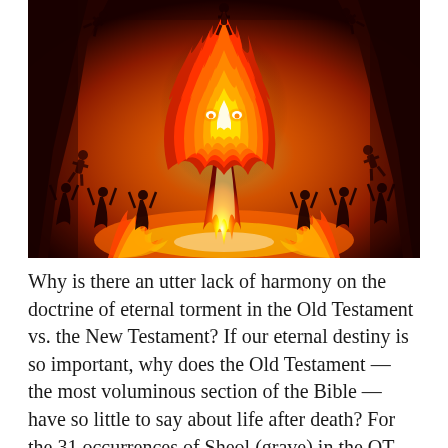[Figure (illustration): Digital illustration of a hellfire scene: a demonic figure made of flame with glowing eyes rises from a pool of fire, with dark silhouettes of human figures falling or being cast around it, against a dark red cavernous background.]
Why is there an utter lack of harmony on the doctrine of eternal torment in the Old Testament vs. the New Testament? If our eternal destiny is so important, why does the Old Testament — the most voluminous section of the Bible — have so little to say about life after death? For the 31 occurrences of Sheol (grave) in the OT, why weren't readers warned of a future eternal torment if they were one? Who shall in